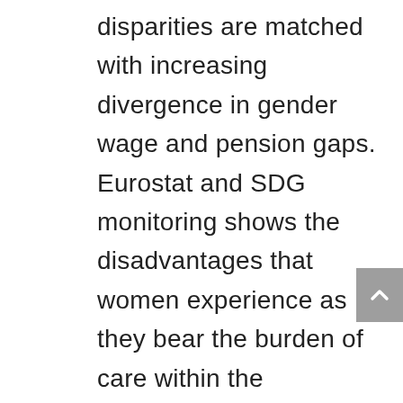disparities are matched with increasing divergence in gender wage and pension gaps. Eurostat and SDG monitoring shows the disadvantages that women experience as they bear the burden of care within the household. While women achieve better results in education, their professional careers are less successful than those of men. Women dominate in crucial sectors of the economy, such as education, care, services and retail, nevertheless, their work is valued less than the one performed by men, both within the same sector and across sectors. Populist forces are endangering the progress that European society has achieved over the last few decades. This could endanger women's participation in the labour market (already quite